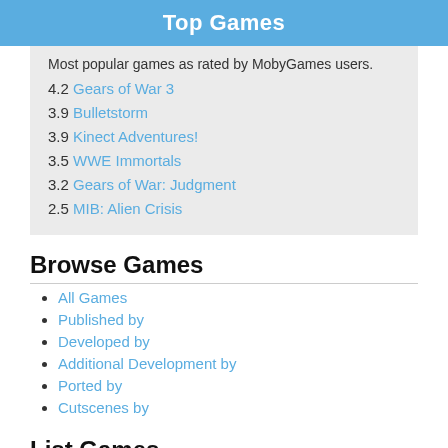Top Games
Most popular games as rated by MobyGames users.
4.2 Gears of War 3
3.9 Bulletstorm
3.9 Kinect Adventures!
3.5 WWE Immortals
3.2 Gears of War: Judgment
2.5 MIB: Alien Crisis
Browse Games
All Games
Published by
Developed by
Additional Development by
Ported by
Cutscenes by
List Games
All Games